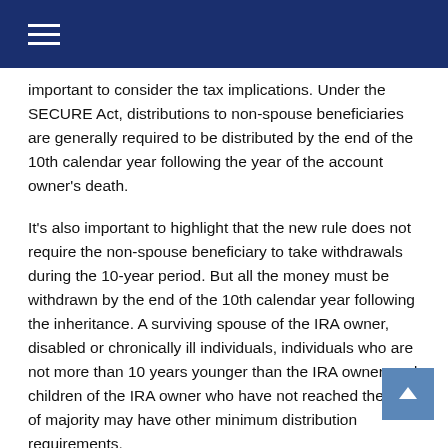important to consider the tax implications. Under the SECURE Act, distributions to non-spouse beneficiaries are generally required to be distributed by the end of the 10th calendar year following the year of the account owner's death.
It's also important to highlight that the new rule does not require the non-spouse beneficiary to take withdrawals during the 10-year period. But all the money must be withdrawn by the end of the 10th calendar year following the inheritance. A surviving spouse of the IRA owner, disabled or chronically ill individuals, individuals who are not more than 10 years younger than the IRA owner, and children of the IRA owner who have not reached the age of majority may have other minimum distribution requirements.